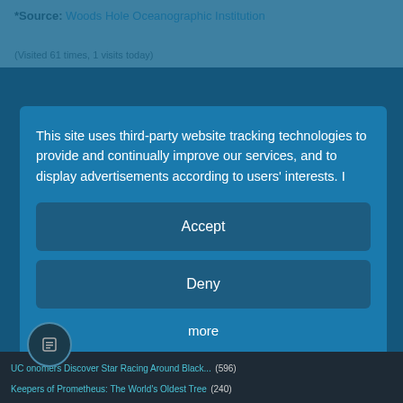*Source: Woods Hole Oceanographic Institution
(Visited 61 times, 1 visits today)
This site uses third-party website tracking technologies to provide and continually improve our services, and to display advertisements according to users' interests. I
Accept
Deny
more
Powered by usercentrics & eRecht24
UC ... onomers Discover Star Racing Around Black... (596)
Keepers of Prometheus: The World's Oldest Tree (240)